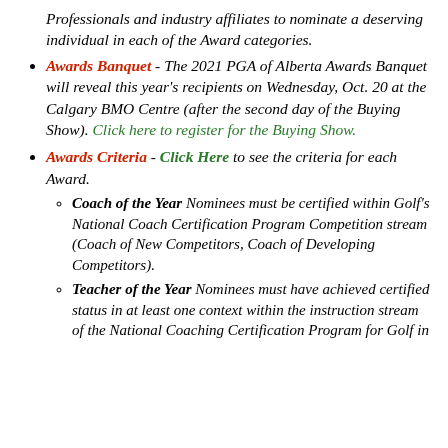Professionals and industry affiliates to nominate a deserving individual in each of the Award categories.
Awards Banquet - The 2021 PGA of Alberta Awards Banquet will reveal this year’s recipients on Wednesday, Oct. 20 at the Calgary BMO Centre (after the second day of the Buying Show). Click here to register for the Buying Show.
Awards Criteria - Click Here to see the criteria for each Award.
Coach of the Year Nominees must be certified within Golf’s National Coach Certification Program Competition stream (Coach of New Competitors, Coach of Developing Competitors).
Teacher of the Year Nominees must have achieved certified status in at least one context within the instruction stream of the National Coaching Certification Program for Golf in